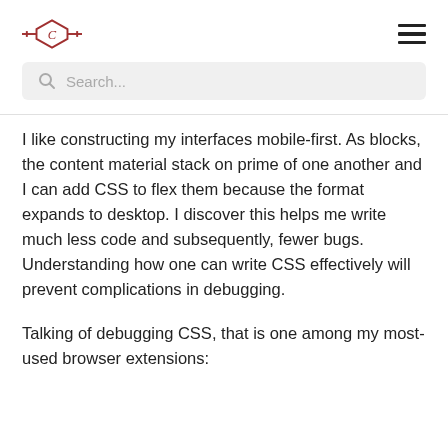Logo and navigation header
I like constructing my interfaces mobile-first. As blocks, the content material stack on prime of one another and I can add CSS to flex them because the format expands to desktop. I discover this helps me write much less code and subsequently, fewer bugs. Understanding how one can write CSS effectively will prevent complications in debugging.
Talking of debugging CSS, that is one among my most-used browser extensions: